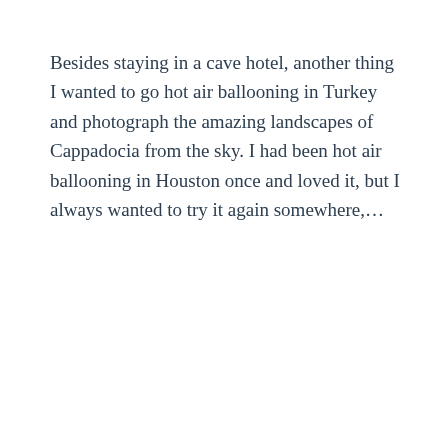Besides staying in a cave hotel, another thing I wanted to go hot air ballooning in Turkey and photograph the amazing landscapes of Cappadocia from the sky. I had been hot air ballooning in Houston once and loved it, but I always wanted to try it again somewhere,...